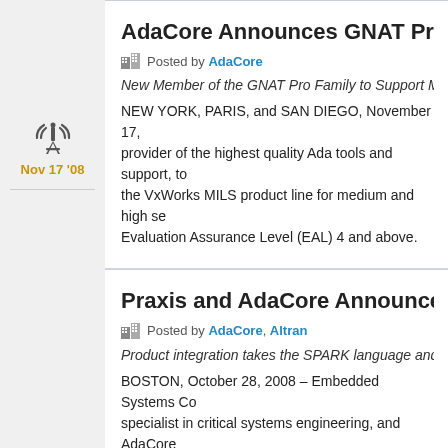Nov 17 '08
AdaCore Announces GNAT Pro H...
Posted by AdaCore
New Member of the GNAT Pro Family to Support Multip...
NEW YORK, PARIS, and SAN DIEGO, November 17, ... provider of the highest quality Ada tools and support, to... the VxWorks MILS product line for medium and high se... Evaluation Assurance Level (EAL) 4 and above.
Oct 27 '08
Praxis and AdaCore Announce St...
Posted by AdaCore, Altran
Product integration takes the SPARK language and too...
BOSTON, October 28, 2008 – Embedded Systems Co... specialist in critical systems engineering, and AdaCore... tools and support, have announced the formation of...